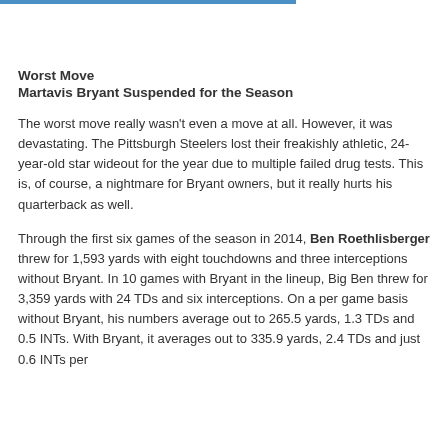Worst Move
Martavis Bryant Suspended for the Season
The worst move really wasn't even a move at all. However, it was devastating. The Pittsburgh Steelers lost their freakishly athletic, 24-year-old star wideout for the year due to multiple failed drug tests. This is, of course, a nightmare for Bryant owners, but it really hurts his quarterback as well.
Through the first six games of the season in 2014, Ben Roethlisberger threw for 1,593 yards with eight touchdowns and three interceptions without Bryant. In 10 games with Bryant in the lineup, Big Ben threw for 3,359 yards with 24 TDs and six interceptions. On a per game basis without Bryant, his numbers average out to 265.5 yards, 1.3 TDs and 0.5 INTs. With Bryant, it averages out to 335.9 yards, 2.4 TDs and just 0.6 INTs per